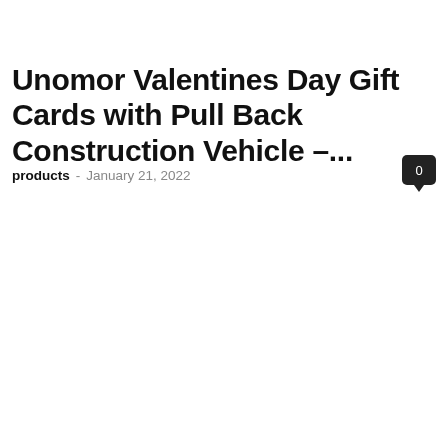Unomor Valentines Day Gift Cards with Pull Back Construction Vehicle –...
products - January 21, 2022